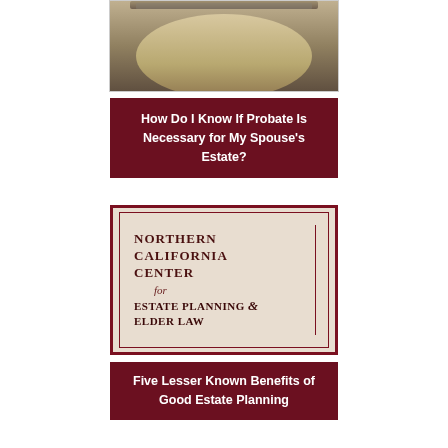[Figure (photo): Photo of a hat or stacked objects, partially cropped at top]
How Do I Know If Probate Is Necessary for My Spouse's Estate?
[Figure (logo): Northern California Center for Estate Planning & Elder Law logo sign on parchment-colored background with dark red border]
Five Lesser Known Benefits of Good Estate Planning